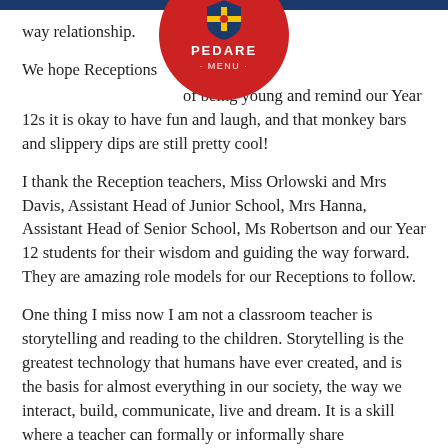PEDARE · MENU ·
way relationship.
We hope Receptions [joy] of being young and remind our Year 12s it is okay to have fun and laugh, and that monkey bars and slippery dips are still pretty cool!
I thank the Reception teachers, Miss Orlowski and Mrs Davis, Assistant Head of Junior School, Mrs Hanna, Assistant Head of Senior School, Ms Robertson and our Year 12 students for their wisdom and guiding the way forward. They are amazing role models for our Receptions to follow.
One thing I miss now I am not a classroom teacher is storytelling and reading to the children. Storytelling is the greatest technology that humans have ever created, and is the basis for almost everything in our society, the way we interact, build, communicate, live and dream. It is a skill where a teacher can formally or informally share knowledge with students... Receptions. For...